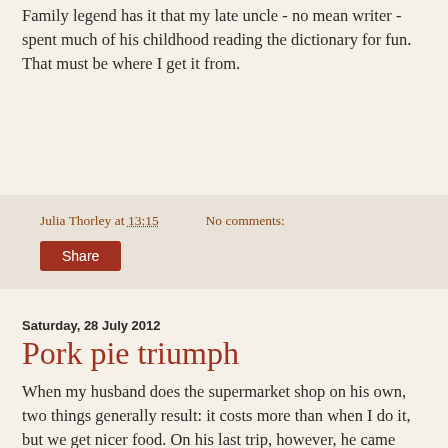Family legend has it that my late uncle - no mean writer - spent much of his childhood reading the dictionary for fun. That must be where I get it from.
Julia Thorley at 13:15    No comments:
Share
Saturday, 28 July 2012
Pork pie triumph
When my husband does the supermarket shop on his own, two things generally result: it costs more than when I do it, but we get nicer food. On his last trip, however, he came back without his habitual weekend pork pie treat, declaring that all those on the shelves were - well, I can't tell you what he said, but it wasn't very complimentary.
What he did bring home, though, was the wherewithal to make his